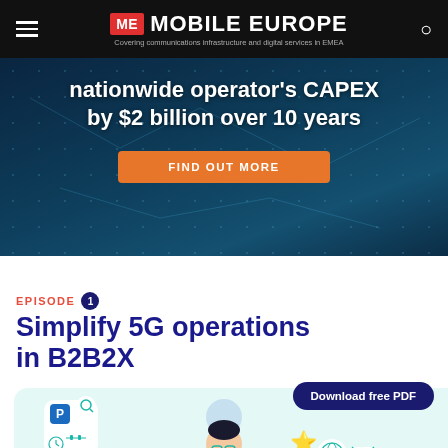ME MOBILE EUROPE – Covering communications infrastructure and digital services in EMEA
[Figure (screenshot): Dark teal network infrastructure banner ad with text 'nationwide operator's CAPEX by $2 billion over 10 years' and an orange 'FIND OUT MORE' button]
EPISODE 1
Simplify 5G operations in B2B2X
[Figure (illustration): Illustration of a person with floating app icons (parking, search, clock, calendar, burger, globe, mail, document, etc.) and a 'Download free PDF' button on a light cyan background]